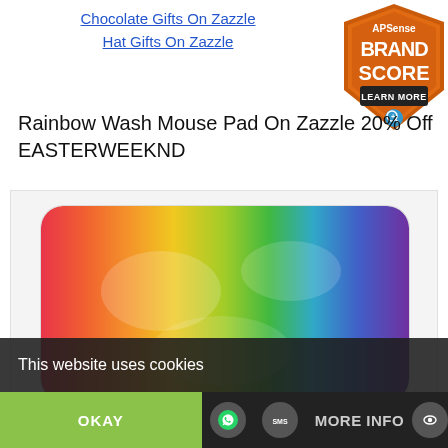Chocolate Gifts On Zazzle
Hat Gifts On Zazzle
[Figure (logo): APSense Brand Score badge - orange shield with white text reading APSense BRAND SCORE LEARN MORE with a magnifier icon]
Rainbow Wash Mouse Pad On Zazzle 20% Off EASTERWEEKND
[Figure (photo): A rainbow watercolor wash mouse pad showing horizontal bands of color from red/pink on the left through orange, yellow, green, blue to purple on the right, on a white background]
This website uses cookies
OKAY
MORE INFO